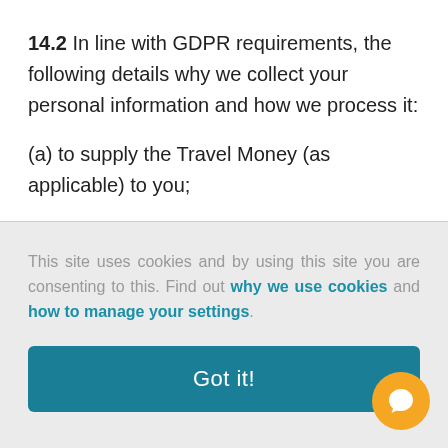14.2 In line with GDPR requirements, the following details why we collect your personal information and how we process it:
(a) to supply the Travel Money (as applicable) to you;
This site uses cookies and by using this site you are consenting to this. Find out why we use cookies and how to manage your settings.